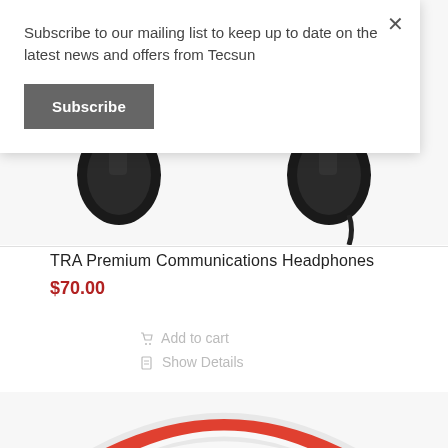Subscribe to our mailing list to keep up to date on the latest news and offers from Tecsun
Subscribe
[Figure (photo): Black over-ear TRA Premium Communications Headphones product photo, cropped showing ear cups and headband from below]
TRA Premium Communications Headphones
$70.00
Add to cart
Show Details
[Figure (photo): Red and white over-ear headphones, top portion visible showing headband with red stripe]